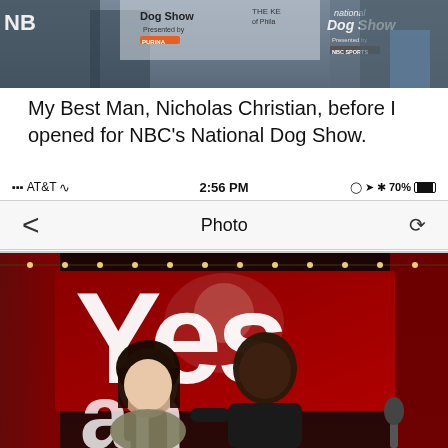[Figure (photo): Top portion of a photo showing people at NBC's National Dog Show event with signage visible]
My Best Man, Nicholas Christian, before I opened for NBC's National Dog Show.
AT&T  2:56 PM  @ 7 * 70%
< Photo (refresh icon)
[Figure (photo): Two people posing together in front of a large red 'Yes' banner on a stage with string lights and red curtains]